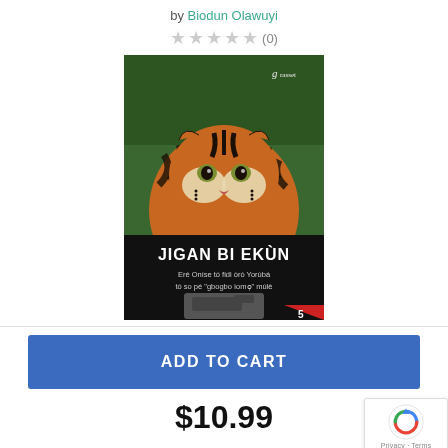by Biodun Olawuyi
★★★★★ (0)
[Figure (photo): Book cover of 'Jigan Bi Ekun' showing a tiger's face close-up with green background. Title text reads JIGAN BI EKUN and subtitle text in Yoruba.]
ADD TO CART
$10.99